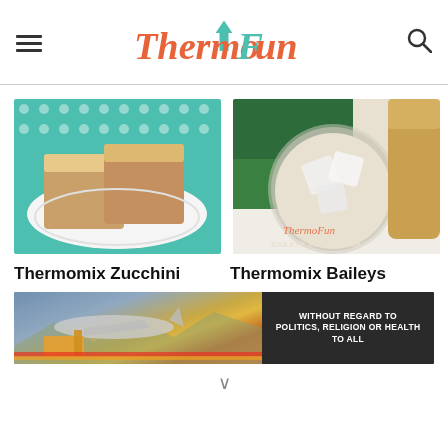ThermoFun — site header with hamburger menu and search icon
[Figure (photo): Thermomix Zucchini cake squares on a white plate with teal dot background]
[Figure (photo): Thermomix Baileys Irish Cream in a glass with ice, bottle in background, ThermoFun watermark]
Thermomix Zucchini
Thermomix Baileys
[Figure (photo): Advertisement banner showing cargo plane being loaded, with text WITHOUT REGARD TO POLITICS, RELIGION OR HEALTH TO ALL]
∨